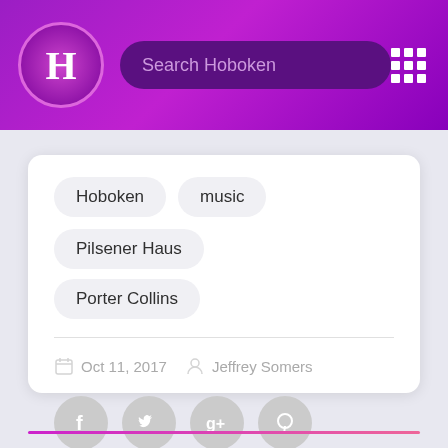Search Hoboken
Hoboken
music
Pilsener Haus
Porter Collins
Oct 11, 2017  Jeffrey Somers
[Figure (other): Social sharing icons: Facebook, Twitter, Google+, Pinterest]